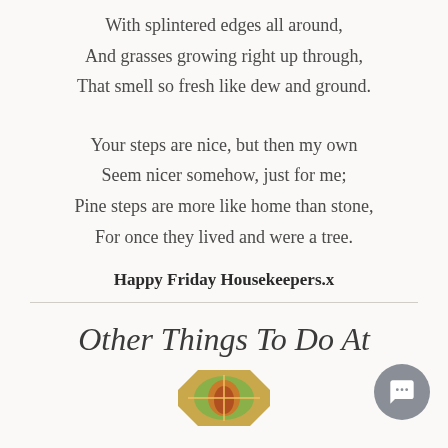With splintered edges all around,
And grasses growing right up through,
That smell so fresh like dew and ground.
Your steps are nice, but then my own
Seem nicer somehow, just for me;
Pine steps are more like home than stone,
For once they lived and were a tree.
Happy Friday Housekeepers.x
Other Things To Do At
[Figure (illustration): Partial view of a decorative circular illustration at the bottom of the page]